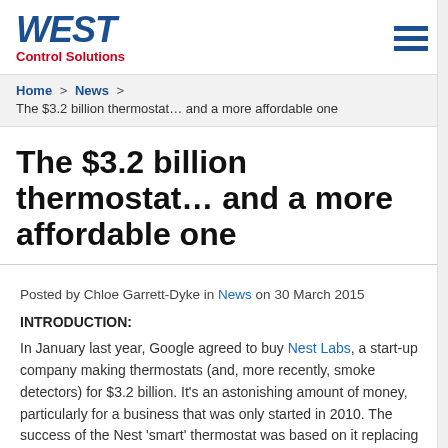WEST Control Solutions
Home > News > The $3.2 billion thermostat… and a more affordable one
The $3.2 billion thermostat… and a more affordable one
Posted by Chloe Garrett-Dyke in News on 30 March 2015
INTRODUCTION:
In January last year, Google agreed to buy Nest Labs, a start-up company making thermostats (and, more recently, smoke detectors) for $3.2 billion. It's an astonishing amount of money, particularly for a business that was only started in 2010. The success of the Nest 'smart' thermostat was based on it replacing traditional central heating programmers, which consumers find difficult to set up and, more